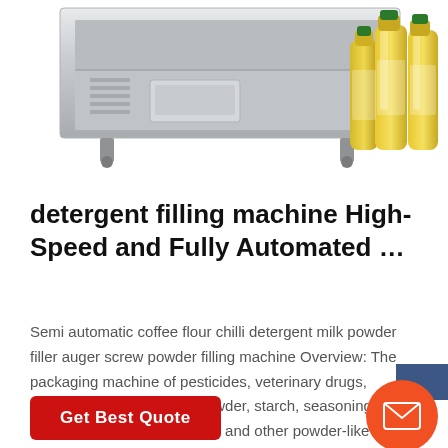[Figure (photo): Industrial filling machine (metallic/silver) with oil bottles (yellow, grouped) shown to the right, partial top view of product listing image]
detergent filling machine High-Speed and Fully Automated …
Semi automatic coffee flour chilli detergent milk powder filler auger screw powder filling machine Overview: The packaging machine of pesticides, veterinary drugs, premixes, additives, milk powder, starch, seasonings, enzyme preparations, fodder and other powder-like quantitative packing.
Get Best Quote